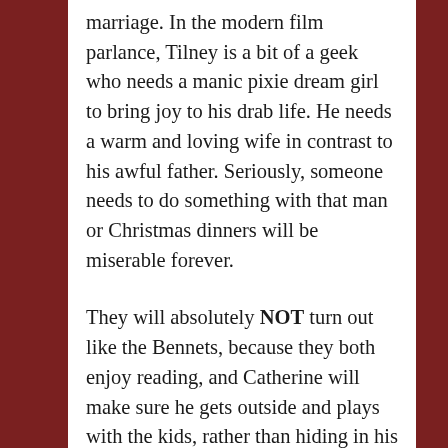marriage. In the modern film parlance, Tilney is a bit of a geek who needs a manic pixie dream girl to bring joy to his drab life. He needs a warm and loving wife in contrast to his awful father. Seriously, someone needs to do something with that man or Christmas dinners will be miserable forever.
They will absolutely NOT turn out like the Bennets, because they both enjoy reading, and Catherine will make sure he gets outside and plays with the kids, rather than hiding in his study, and she is much too practical to be holding court in her boudoir while suffering from her nerves. Mrs. Bennet lacks Catherine's ability to recognize her own flaws and to laugh at her own foolishness. Catherine